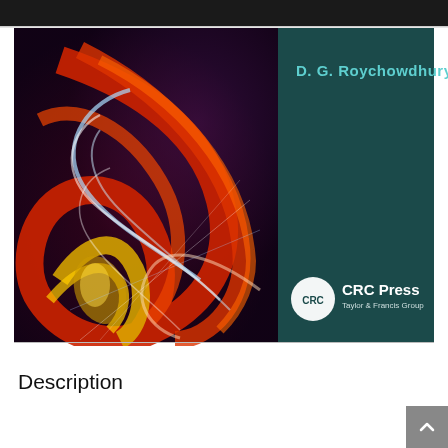[Figure (illustration): Book cover for a CRC Press publication by D. G. Roychowdhury. Left portion shows abstract digital art with swirling red, orange, yellow, and white light streaks on a dark purple-black background. Right portion is a dark teal panel showing the author name 'D. G. Roychowdhury' in teal/cyan text at the top, and the CRC Press logo (Taylor & Francis Group) in white at the bottom right.]
Description